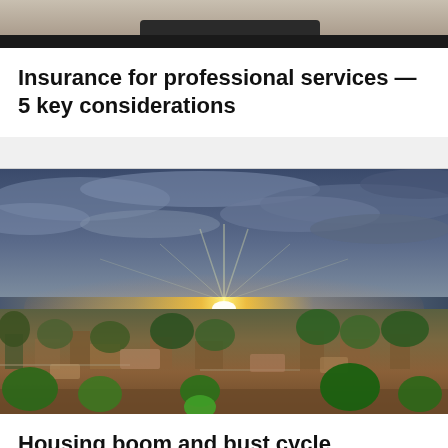[Figure (photo): Partial top image cropped at top of page, appears to be a person in professional setting, only bottom portion visible]
Insurance for professional services — 5 key considerations
[Figure (photo): Aerial drone photograph of a suburban neighborhood at sunset with dramatic cloudy sky, sun setting on horizon illuminating the landscape]
Housing boom and bust cycle debunked